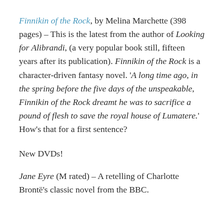Finnikin of the Rock, by Melina Marchette (398 pages) – This is the latest from the author of Looking for Alibrandi, (a very popular book still, fifteen years after its publication). Finnikin of the Rock is a character-driven fantasy novel. 'A long time ago, in the spring before the five days of the unspeakable, Finnikin of the Rock dreamt he was to sacrifice a pound of flesh to save the royal house of Lumatere.' How's that for a first sentence?
New DVDs!
Jane Eyre (M rated) – A retelling of Charlotte Brontë's classic novel from the BBC.